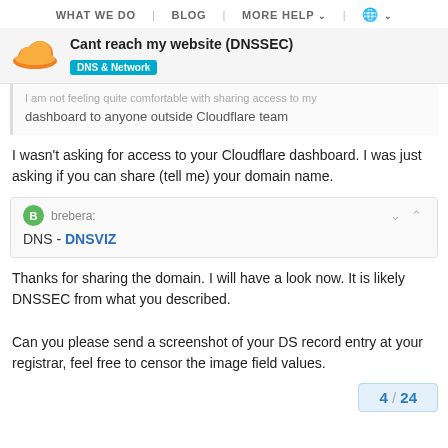WHAT WE DO | BLOG | MORE HELP | (globe)
Cant reach my website (DNSSEC)
DNS & Network
I am not feeling quite comfortable with sharing access to my dashboard to anyone outside Cloudflare team
I wasn't asking for access to your Cloudflare dashboard. I was just asking if you can share (tell me) your domain name.
brebera:
DNS - DNSVIZ
Thanks for sharing the domain. I will have a look now. It is likely DNSSEC from what you described.

Can you please send a screenshot of your DS record entry at your registrar, feel free to censor the image field values.
4 / 24